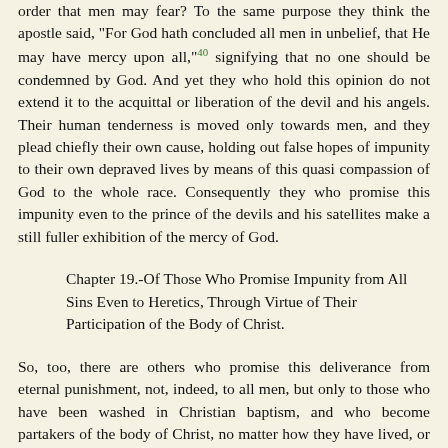order that men may fear? To the same purpose they think the apostle said, "For God hath concluded all men in unbelief, that He may have mercy upon all,"40 signifying that no one should be condemned by God. And yet they who hold this opinion do not extend it to the acquittal or liberation of the devil and his angels. Their human tenderness is moved only towards men, and they plead chiefly their own cause, holding out false hopes of impunity to their own depraved lives by means of this quasi compassion of God to the whole race. Consequently they who promise this impunity even to the prince of the devils and his satellites make a still fuller exhibition of the mercy of God.
Chapter 19.-Of Those Who Promise Impunity from All Sins Even to Heretics, Through Virtue of Their Participation of the Body of Christ.
So, too, there are others who promise this deliverance from eternal punishment, not, indeed, to all men, but only to those who have been washed in Christian baptism, and who become partakers of the body of Christ, no matter how they have lived, or what heresy or impiety they have fallen into. They ground this opinion on the saying of Jesus, "This is the bread which cometh down from heaven, that if any man eat thereof, he shall not die. I am the living bread which came down from heaven. If a man eat of this bread, he shall live for ever."41 Therefore, say they, it follows that these